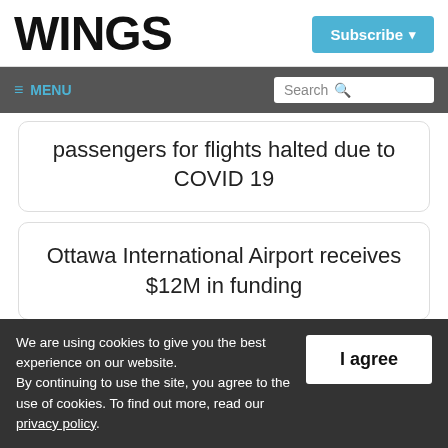WINGS
Subscribe
≡ MENU   Search
passengers for flights halted due to COVID 19
Ottawa International Airport receives $12M in funding
→
We are using cookies to give you the best experience on our website. By continuing to use the site, you agree to the use of cookies. To find out more, read our privacy policy.
I agree